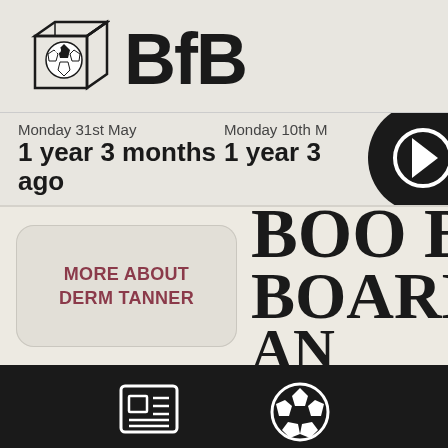[Figure (logo): BfB logo with geometric cube/box icon containing a soccer ball, followed by bold BfB text]
Monday 31st May
1 year 3 months ago
Monday 10th M...
1 year 3...
MORE ABOUT
DERM TANNER
BOO BO
BOARDS
AN
[Figure (illustration): Newspaper/article icon in white]
Recent articles
[Figure (illustration): Soccer ball icon in white]
Match reports